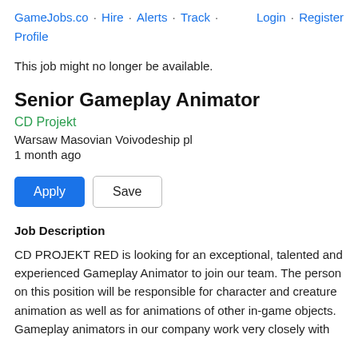GameJobs.co · Hire · Alerts · Track · Login · Register Profile
This job might no longer be available.
Senior Gameplay Animator
CD Projekt
Warsaw Masovian Voivodeship pl
1 month ago
Apply  Save
Job Description
CD PROJEKT RED is looking for an exceptional, talented and experienced Gameplay Animator to join our team. The person on this position will be responsible for character and creature animation as well as for animations of other in-game objects. Gameplay animators in our company work very closely with